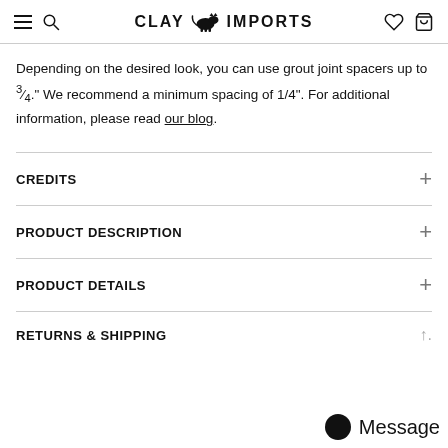CLAY IMPORTS
Depending on the desired look, you can use grout joint spacers up to ¾." We recommend a minimum spacing of 1/4". For additional information, please read our blog.
CREDITS
PRODUCT DESCRIPTION
PRODUCT DETAILS
RETURNS & SHIPPING
Message